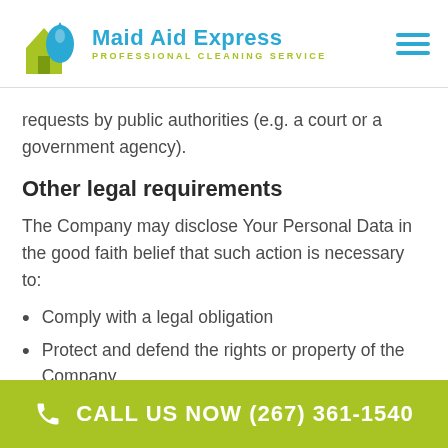[Figure (logo): Maid Aid Express Professional Cleaning Service logo with house and water drop icon in green and blue]
requests by public authorities (e.g. a court or a government agency).
Other legal requirements
The Company may disclose Your Personal Data in the good faith belief that such action is necessary to:
Comply with a legal obligation
Protect and defend the rights or property of the Company
CALL US NOW (267) 361-1540